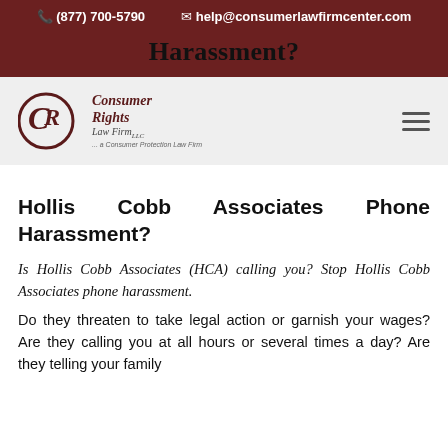(877) 700-5790  help@consumerlawfirmcenter.com
Hollis Cobb Associates Phone Harassment?
[Figure (logo): Consumer Rights Law Firm LLC logo with CR monogram and tagline 'a Consumer Protection Law Firm']
Hollis Cobb Associates Phone Harassment?
Is Hollis Cobb Associates (HCA) calling you? Stop Hollis Cobb Associates phone harassment. Do they threaten to take legal action or garnish your wages? Are they calling you at all hours or several times a day? Are they telling your family